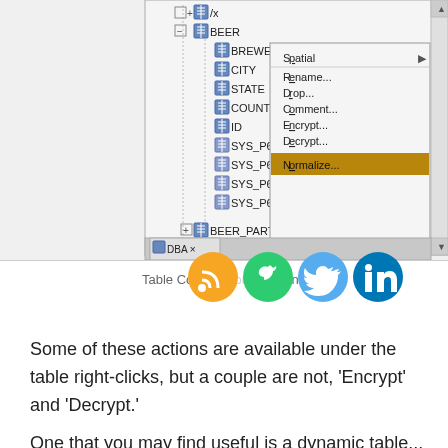[Figure (screenshot): Screenshot of a database management UI showing a tree view with tables (BEER, BREWERY, CITY, STATE, COUNTRY, ID, SYS_P65-68, BEER_PART) and a right-click context menu with options: Spatial, Rename..., Drop..., Comment..., Encrypt..., Decrypt..., Normalize... (highlighted in gold)]
Table Column Context Menu
Some of these actions are available under the table right-clicks, but a couple are not, ‘Encrypt’ and ‘Decrypt.’
One that you may find useful is a dynamic table...